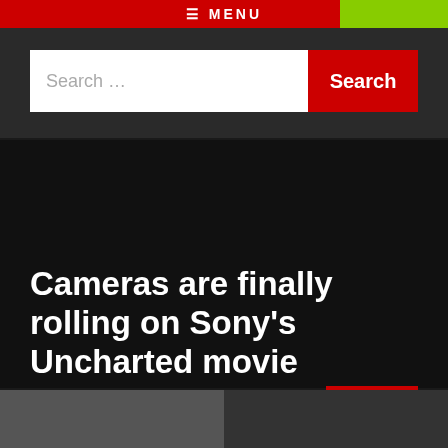≡ MENU
Search ...
Search
Cameras are finally rolling on Sony's Uncharted movie
Posted 2 years ago by Chris Moyse
30